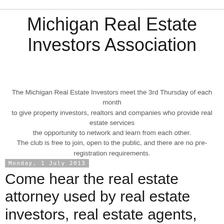Michigan Real Estate Investors Association
The Michigan Real Estate Investors meet the 3rd Thursday of each month
to give property investors, realtors and companies who provide real estate services
the opportunity to network and learn from each other.
The club is free to join, open to the public, and there are no pre-registration requirements.
Monday, 1 July 2013
Come hear the real estate attorney used by real estate investors, real estate agents, home buyers and landlords